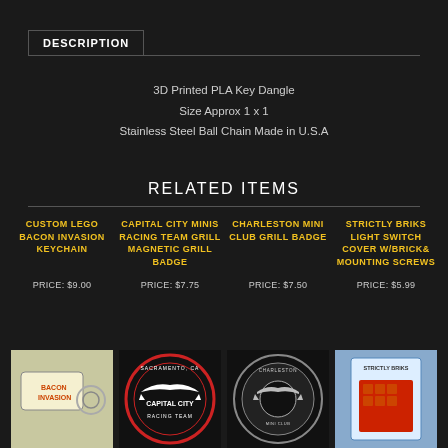DESCRIPTION
3D Printed PLA Key Dangle
Size Approx 1 x 1
Stainless Steel Ball Chain Made in U.S.A
RELATED ITEMS
CUSTOM LEGO BACON INVASION KEYCHAIN
PRICE: $9.00
CAPITAL CITY MINIS RACING TEAM GRILL MAGNETIC GRILL BADGE
PRICE: $7.75
CHARLESTON MINI CLUB GRILL BADGE
PRICE: $7.50
STRICTLY BRIKS LIGHT SWITCH COVER W/BRICK & MOUNTING SCREWS
PRICE: $5.99
[Figure (photo): Bacon Invasion keychain product photo]
[Figure (photo): Capital City Minis Racing Team circular grill badge]
[Figure (photo): Charleston Mini Club circular grill badge]
[Figure (photo): Strictly Briks light switch cover product in blue packaging]